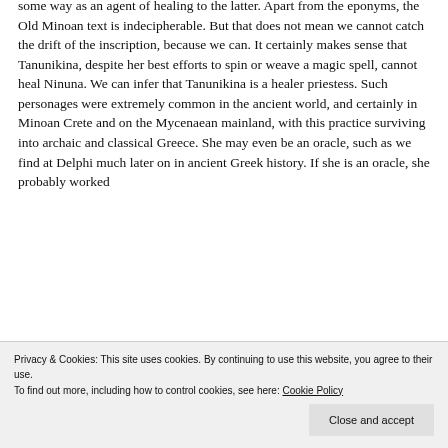some way as an agent of healing to the latter. Apart from the eponyms, the Old Minoan text is indecipherable. But that does not mean we cannot catch the drift of the inscription, because we can. It certainly makes sense that Tanunikina, despite her best efforts to spin or weave a magic spell, cannot heal Ninuna. We can infer that Tanunikina is a healer priestess. Such personages were extremely common in the ancient world, and certainly in Minoan Crete and on the Mycenaean mainland, with this practice surviving into archaic and classical Greece. She may even be an oracle, such as we find at Delphi much later on in ancient Greek history. If she is an oracle, she probably worked from a Minoan shrine...
Privacy & Cookies: This site uses cookies. By continuing to use this website, you agree to their use. To find out more, including how to control cookies, see here: Cookie Policy